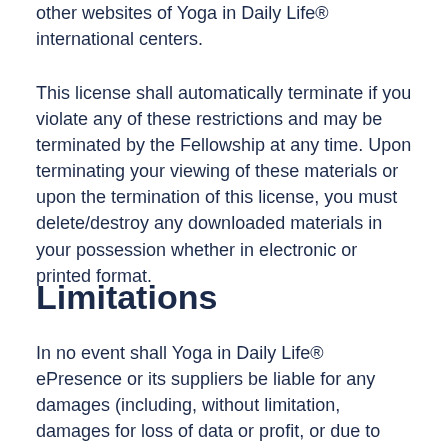other websites of Yoga in Daily Life® international centers.
This license shall automatically terminate if you violate any of these restrictions and may be terminated by the Fellowship at any time. Upon terminating your viewing of these materials or upon the termination of this license, you must delete/destroy any downloaded materials in your possession whether in electronic or printed format.
Limitations
In no event shall Yoga in Daily Life® ePresence or its suppliers be liable for any damages (including, without limitation, damages for loss of data or profit, or due to business interruption,) arising out of the use or